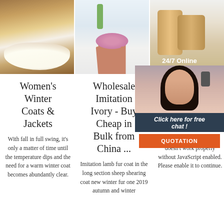[Figure (photo): Three product images side by side: white sheepskin rug on hardwood floor, pink round sheepskin chair cushion on pink wooden stool, and wooden furniture/shelf detail]
[Figure (infographic): 24/7 Online chat overlay with woman wearing headset, 'Click here for free chat!' text, and orange QUOTATION button]
Women's Winter Coats & Jackets
With fall in full swing, it's only a matter of time until the temperature dips and the need for a warm winter coat becomes abundantly clear.
Wholesale Imitation Ivory - Buy Cheap in Bulk from China ...
Imitation lamb fur coat in the long section sheep shearing coat new winter fur one 2019 autumn and winter
Je D Jac Cl
2021-8 sorry, frontend doesn't work properly without JavaScript enabled. Please enable it to continue.